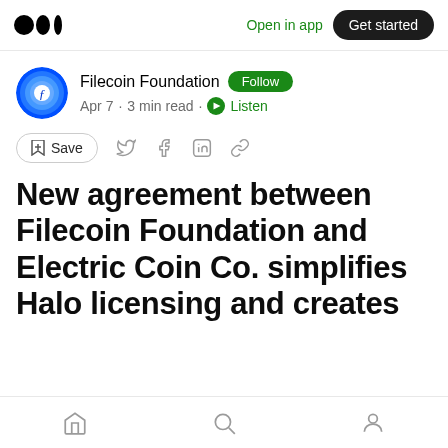Medium — Open in app · Get started
Filecoin Foundation · Follow · Apr 7 · 3 min read · Listen
Save
New agreement between Filecoin Foundation and Electric Coin Co. simplifies Halo licensing and creates
Home · Search · Profile